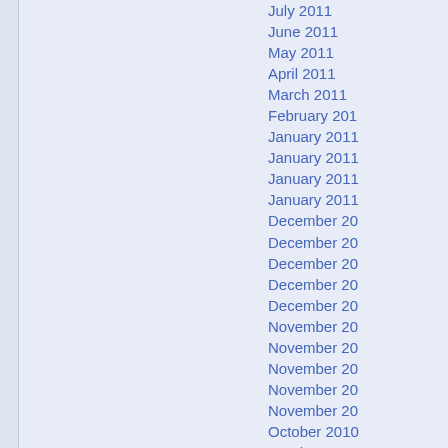July 2011
June 2011
May 2011
April 2011
March 2011
February 2011
January 2011
January 2011
January 2011
January 2011
December 2010
December 2010
December 2010
December 2010
December 2010
November 2010
November 2010
November 2010
November 2010
November 2010
October 2010
October 2010
October 2010
October 2010
October 2010
September 2010
September 2010
September 2010
September 2010
September 2010
August 2010
August 2010
August 2010